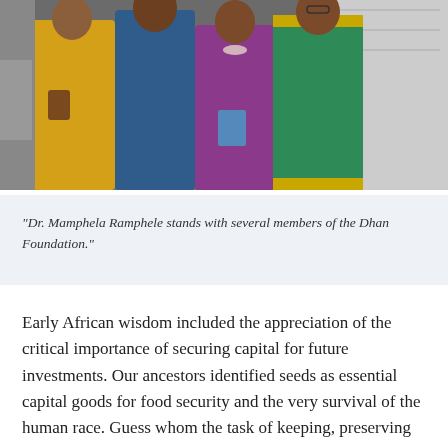[Figure (photo): Group photo of four people standing together. From left: a woman in a yellow kurta with a brown bag and water bottle, a man in a blue shirt, a woman in a purple dress holding a book, and a woman in a green and gold sari. A whiteboard is visible in the background.]
“Dr. Mamphela Ramphele stands with several members of the Dhan Foundation.”
Early African wisdom included the appreciation of the critical importance of securing capital for future investments. Our ancestors identified seeds as essential capital goods for food security and the very survival of the human race. Guess whom the task of keeping, preserving and securing the seeds was assigned to? Women. They could